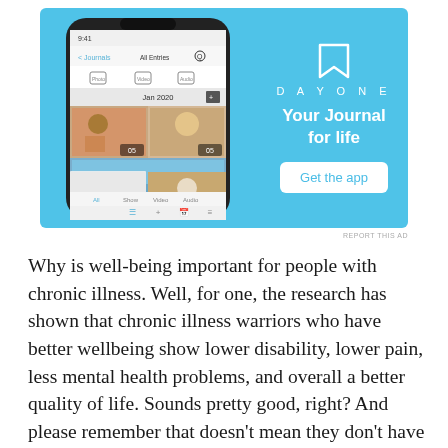[Figure (screenshot): DayOne app advertisement on a light blue background. Left side shows a smartphone screenshot of the DayOne journal app with photo grid and navigation. Right side shows a bookmark icon, the text 'DAYONE', 'Your Journal for life', and a 'Get the app' button.]
REPORT THIS AD
Why is well-being important for people with chronic illness. Well, for one, the research has shown that chronic illness warriors who have better wellbeing show lower disability, lower pain, less mental health problems, and overall a better quality of life. Sounds pretty good, right? And please remember that doesn't mean they don't have any disability, pain or mental health problems, it means